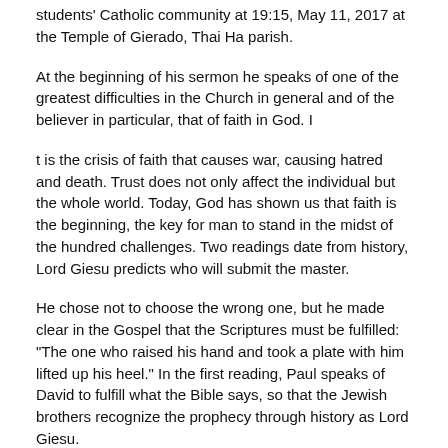students' Catholic community at 19:15, May 11, 2017 at the Temple of Gierado, Thai Ha parish.
At the beginning of his sermon he speaks of one of the greatest difficulties in the Church in general and of the believer in particular, that of faith in God. I
t is the crisis of faith that causes war, causing hatred and death. Trust does not only affect the individual but the whole world. Today, God has shown us that faith is the beginning, the key for man to stand in the midst of the hundred challenges. Two readings date from history, Lord Giesu predicts who will submit the master.
He chose not to choose the wrong one, but he made clear in the Gospel that the Scriptures must be fulfilled: "The one who raised his hand and took a plate with him lifted up his heel." In the first reading, Paul speaks of David to fulfill what the Bible says, so that the Jewish brothers recognize the prophecy through history as Lord Giesu.